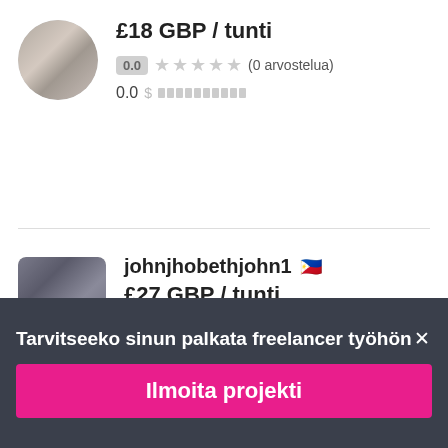£18 GBP / tunti
0.0 ★★★★★ (0 arvostelua)
0.0
johnjhobethjohn1
£27 GBP / tunti
0.0 ★★★★★ (0 arvostelua)
0.0
Tarvitseeko sinun palkata freelancer työhön✕
Ilmoita projekti